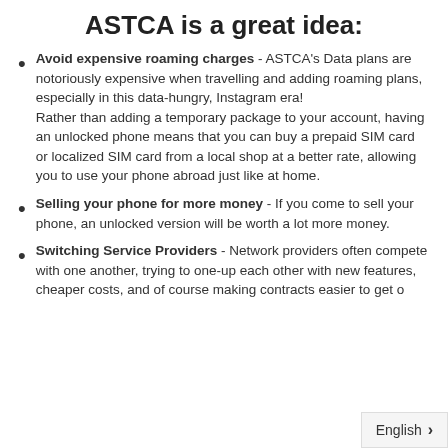ASTCA is a great idea:
Avoid expensive roaming charges - ASTCA's Data plans are notoriously expensive when travelling and adding roaming plans, especially in this data-hungry, Instagram era! Rather than adding a temporary package to your account, having an unlocked phone means that you can buy a prepaid SIM card or localized SIM card from a local shop at a better rate, allowing you to use your phone abroad just like at home.
Selling your phone for more money - If you come to sell your phone, an unlocked version will be worth a lot more money.
Switching Service Providers - Network providers often compete with one another, trying to one-up each other with new features, cheaper costs, and of course making contracts easier to get o... ants that still offer contracts, their own...